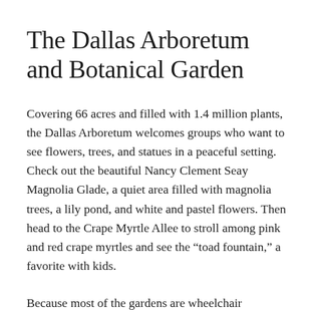The Dallas Arboretum and Botanical Garden
Covering 66 acres and filled with 1.4 million plants, the Dallas Arboretum welcomes groups who want to see flowers, trees, and statues in a peaceful setting. Check out the beautiful Nancy Clement Seay Magnolia Glade, a quiet area filled with magnolia trees, a lily pond, and white and pastel flowers. Then head to the Crape Myrtle Allee to stroll among pink and red crape myrtles and see the “toad fountain,” a favorite with kids.
Because most of the gardens are wheelchair accessible, the t...